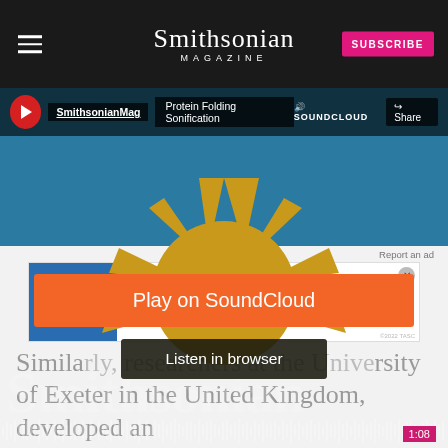Smithsonian MAGAZINE — SUBSCRIBE
[Figure (screenshot): SoundCloud embed player showing 'Protein Folding Sonification' track from SmithsonianMag. Shows a blue background with a sun/sunburst illustration, 'Play on SoundCloud' orange button, 'Listen in browser' dark button, waveform, timer 1:08, and Privacy policy label.]
[Figure (screenshot): Advertisement banner for Quaker Museum Day — 'You could WIN a museum field trip to D.C.' with LEARN MORE button and legal text.]
Similarly, researchers at the University of Exeter in the United Kingdom, developed an